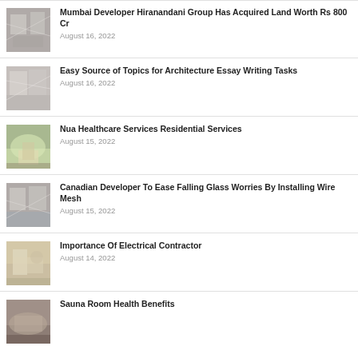Mumbai Developer Hiranandani Group Has Acquired Land Worth Rs 800 Cr
August 16, 2022
Easy Source of Topics for Architecture Essay Writing Tasks
August 16, 2022
Nua Healthcare Services Residential Services
August 15, 2022
Canadian Developer To Ease Falling Glass Worries By Installing Wire Mesh
August 15, 2022
Importance Of Electrical Contractor
August 14, 2022
Sauna Room Health Benefits